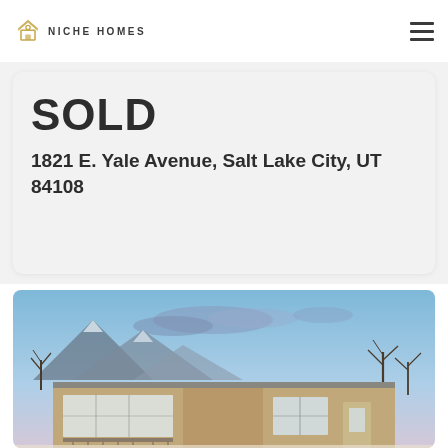NICHE HOMES
SOLD
1821 E. Yale Avenue, Salt Lake City, UT 84108
[Figure (photo): Exterior photo of a mid-century modern ranch house with large windows, brick facade, bare trees, and mountains visible in the background under a dusky blue sky.]